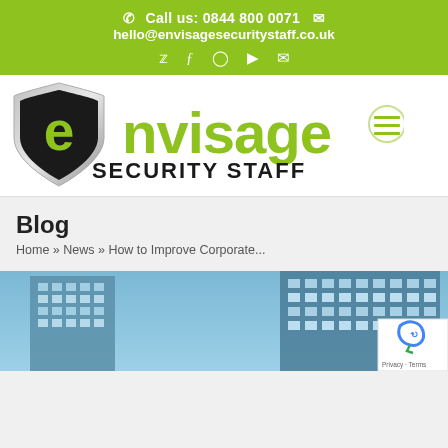Call us: 0844 800 0071   hello@envisagesecuritystaff.co.uk
[Figure (logo): Envisage Security Staff logo: shield with green letter e, text 'envisage SECURITY STAFF' in green and black, hamburger menu icon top right]
Blog
Home » News » How to Improve Corporate...
[Figure (photo): Photo of corporate glass office buildings with blue sky reflection]